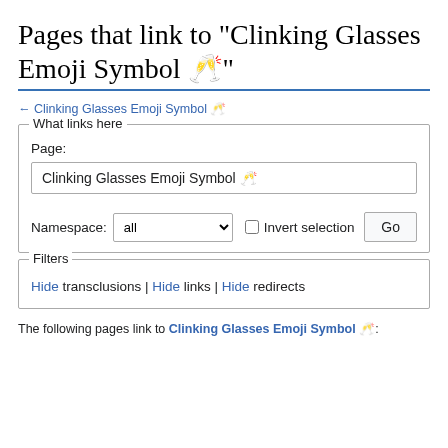Pages that link to "Clinking Glasses Emoji Symbol 🥂"
← Clinking Glasses Emoji Symbol 🥂
What links here
Page:
Clinking Glasses Emoji Symbol 🥂
Namespace: all  Invert selection  Go
Filters
Hide transclusions | Hide links | Hide redirects
The following pages link to Clinking Glasses Emoji Symbol 🥂: